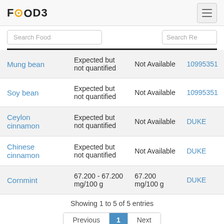FOODB
| Food | Range | Amount | Source |
| --- | --- | --- | --- |
| Mung bean | Expected but not quantified | Not Available | 10995351 |
| Soy bean | Expected but not quantified | Not Available | 10995351 |
| Ceylon cinnamon | Expected but not quantified | Not Available | DUKE |
| Chinese cinnamon | Expected but not quantified | Not Available | DUKE |
| Cornmint | 67.200 - 67.200 mg/100 g | 67.200 mg/100 g | DUKE |
Showing 1 to 5 of 5 entries